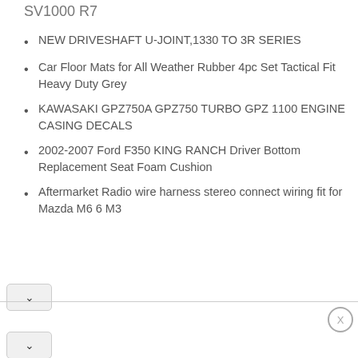SV1000 R7
NEW DRIVESHAFT U-JOINT,1330 TO 3R SERIES
Car Floor Mats for All Weather Rubber 4pc Set Tactical Fit Heavy Duty Grey
KAWASAKI GPZ750A GPZ750 TURBO GPZ 1100 ENGINE CASING DECALS
2002-2007 Ford F350 KING RANCH Driver Bottom Replacement Seat Foam Cushion
Aftermarket Radio wire harness stereo connect wiring fit for Mazda M6 6 M3